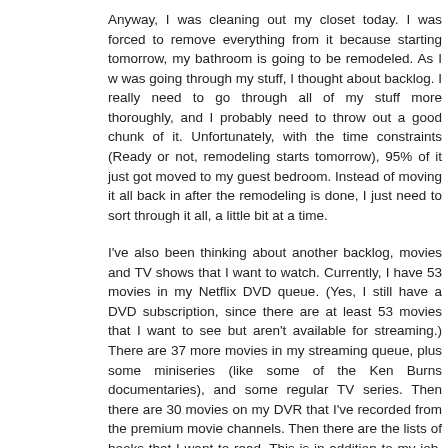Anyway, I was cleaning out my closet today. I was forced to remove everything from it because starting tomorrow, my bathroom is going to be remodeled. As I was going through my stuff, I thought about backlog. I really need to go through all of my stuff more thoroughly, and I probably need to throw out a good chunk of it. Unfortunately, with the time constraints (Ready or not, remodeling starts tomorrow), 95% of it just got moved to my guest bedroom. Instead of moving it all back in after the remodeling is done, I just need to sort through it all, a little bit at a time.
I've also been thinking about another backlog, movies and TV shows that I want to watch. Currently, I have 53 movies in my Netflix DVD queue. (Yes, I still have a DVD subscription, since there are at least 53 movies that I want to see but aren't available for streaming.) There are 37 more movies in my streaming queue, plus some miniseries (like some of the Ken Burns documentaries), and some regular TV series. Then there are 30 movies on my DVR that I've recorded from the premium movie channels. Then there are the lists of books that I want to read. This is in addition to my job, various commitments that I've made, spending time with family and friends, hobbies, and getting a good night's sleep.
Every so often, I'll stumble across an article where someone tries to defend the merits of a movie that isn't very well regarded, imploring people to go back and take another look at the movie, and not in the MST3K fashion. Right now, I don't have time to re-watch the movies that I loved. Why would I set aside time to re-watch a movie that I didn't like?
So, yeah, I've got a lot of catching up to do. I guess slow and steady is the way to go when it comes to backlogs and lots of other things in life.